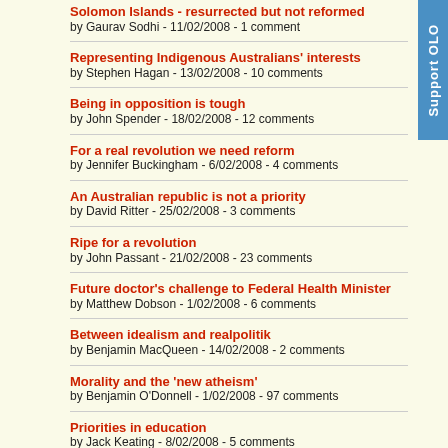Solomon Islands - resurrected but not reformed
by Gaurav Sodhi - 11/02/2008 - 1 comment
Representing Indigenous Australians' interests
by Stephen Hagan - 13/02/2008 - 10 comments
Being in opposition is tough
by John Spender - 18/02/2008 - 12 comments
For a real revolution we need reform
by Jennifer Buckingham - 6/02/2008 - 4 comments
An Australian republic is not a priority
by David Ritter - 25/02/2008 - 3 comments
Ripe for a revolution
by John Passant - 21/02/2008 - 23 comments
Future doctor's challenge to Federal Health Minister
by Matthew Dobson - 1/02/2008 - 6 comments
Between idealism and realpolitik
by Benjamin MacQueen - 14/02/2008 - 2 comments
Morality and the 'new atheism'
by Benjamin O'Donnell - 1/02/2008 - 97 comments
Priorities in education
by Jack Keating - 8/02/2008 - 5 comments
The paramilitary wing of the AFP
by Bruce Haigh - 25/02/2008 - 26 comments
Where's the beef?